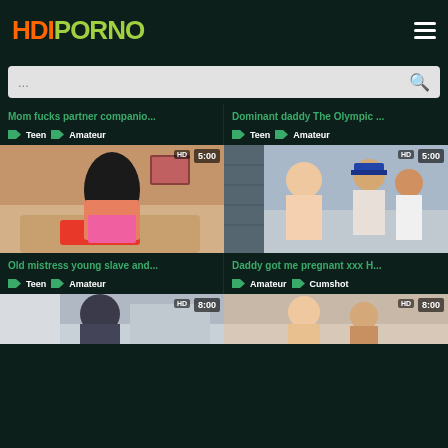HDIPORNO
...
Mom fucks partner companio...
Teen  Amateur
Dominant daddy The Olympic ...
Teen  Amateur
[Figure (photo): Video thumbnail showing a woman with long black hair in pink top, living room setting. HD badge, duration 5:00]
[Figure (photo): Video thumbnail showing people in a room, one wearing a captain hat. HD badge, duration 5:00]
Old mistress young slave and...
Teen  Amateur
Daddy got me pregnant xxx H...
Amateur  Cumshot
[Figure (photo): Partial video thumbnail left, HD badge, duration 8:00]
[Figure (photo): Partial video thumbnail right, HD badge, duration 8:00]